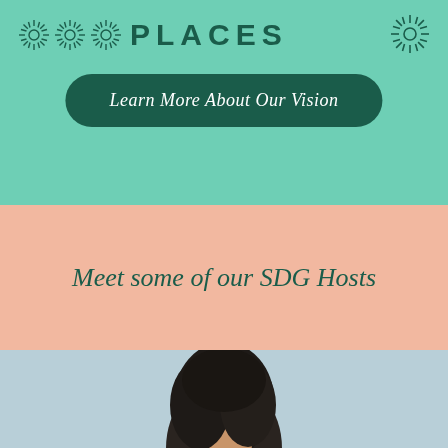SDG PLACES
Learn More About Our Vision
Meet some of our SDG Hosts
[Figure (photo): Portrait photo of a person with dark hair, cropped at neck/shoulder level, against a light blue-grey background]